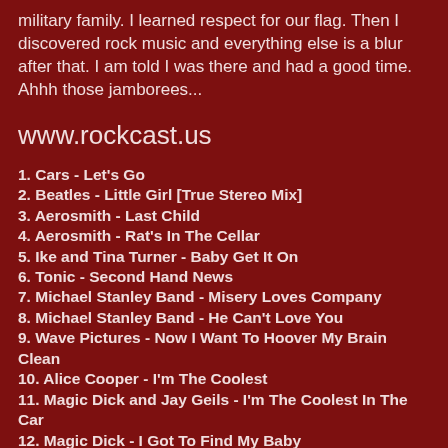military family. I learned respect for our flag. Then I discovered rock music and everything else is a blur after that. I am told I was there and had a good time. Ahhh those jamborees...
www.rockcast.us
1. Cars - Let's Go
2. Beatles - Little Girl [True Stereo Mix]
3. Aerosmith - Last Child
4. Aerosmith - Rat's In The Cellar
5. Ike and Tina Turner - Baby Get It On
6. Tonic - Second Hand News
7. Michael Stanley Band - Misery Loves Company
8. Michael Stanley Band - He Can't Love You
9. Wave Pictures - Now I Want To Hoover My Brain Clean
10. Alice Cooper - I'm The Coolest
11. Magic Dick and Jay Geils - I'm The Coolest In The Car
12. Magic Dick - I Got To Find My Baby